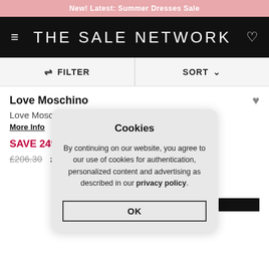New! Latest: Summer Dresses Sale
THE SALE NETWORK
FILTER   SORT
Love Moschino
Love Moschino Satchels -...
More Info
SAVE 24%
£206.30  £156.70
Cookies
By continuing on our website, you agree to our use of cookies for authentication, personalized content and advertising as described in our privacy policy.
OK